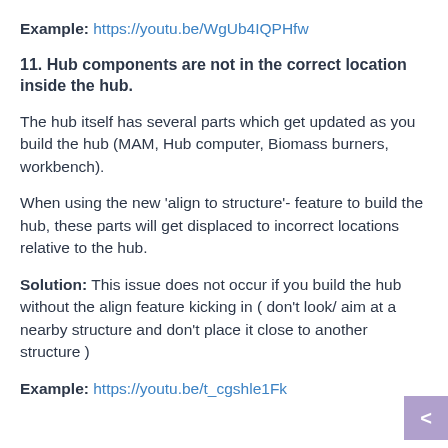Example: https://youtu.be/WgUb4IQPHfw
11. Hub components are not in the correct location inside the hub.
The hub itself has several parts which get updated as you build the hub (MAM, Hub computer, Biomass burners, workbench).
When using the new 'align to structure'- feature to build the hub, these parts will get displaced to incorrect locations relative to the hub.
Solution: This issue does not occur if you build the hub without the align feature kicking in ( don't look/ aim at a nearby structure and don't place it close to another structure )
Example: https://youtu.be/t_cgshle1Fk